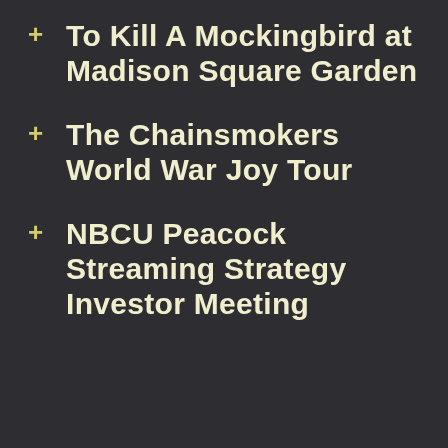To Kill A Mockingbird at Madison Square Garden
The Chainsmokers World War Joy Tour
NBCU Peacock Streaming Strategy Investor Meeting